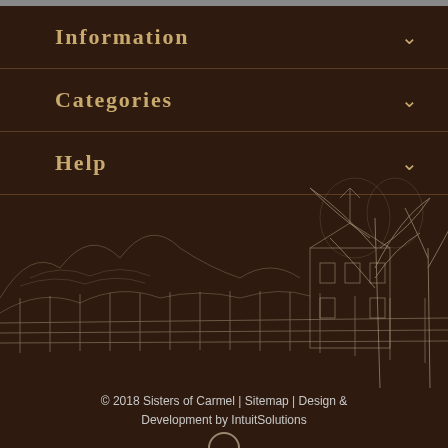Information
Categories
Help
[Figure (illustration): Sketch illustration of a building with trees and a fence line rendered in white/cream lines on dark brown background]
© 2018 Sisters of Carmel | Sitemap | Design & Development by IntuitSolutions